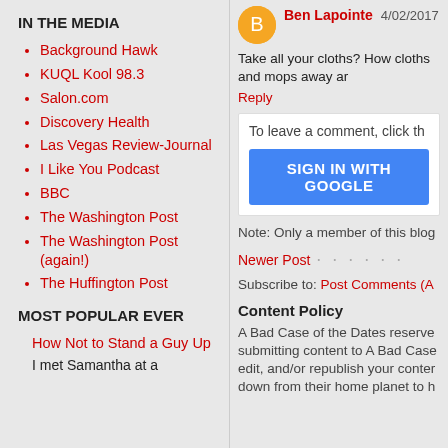IN THE MEDIA
Background Hawk
KUQL Kool 98.3
Salon.com
Discovery Health
Las Vegas Review-Journal
I Like You Podcast
BBC
The Washington Post
The Washington Post (again!)
The Huffington Post
MOST POPULAR EVER
How Not to Stand a Guy Up
I met Samantha at a
Ben Lapointe 4/02/2017
Take all your cloths? How cloths and mops away ar
Reply
To leave a comment, click th
SIGN IN WITH GOOGLE
Note: Only a member of this blog
Newer Post
Subscribe to: Post Comments (A
Content Policy
A Bad Case of the Dates reserve submitting content to A Bad Case edit, and/or republish your conter down from their home planet to h